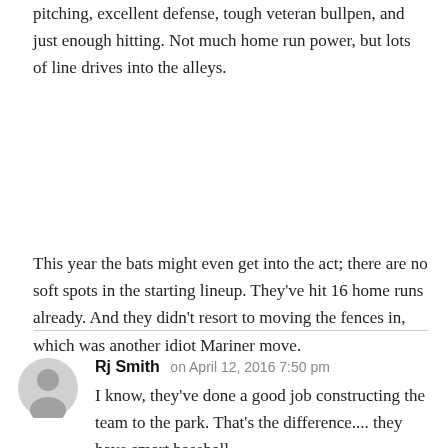pitching, excellent defense, tough veteran bullpen, and just enough hitting. Not much home run power, but lots of line drives into the alleys.
This year the bats might even get into the act; there are no soft spots in the starting lineup. They've hit 16 home runs already. And they didn't resort to moving the fences in, which was another idiot Mariner move.
Rj Smith on April 12, 2016 7:50 pm
I know, they've done a good job constructing the team to the park. That's the difference.... they have smart baseball